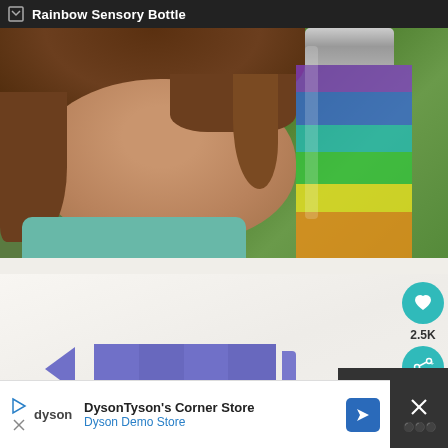Rainbow Sensory Bottle
[Figure (photo): Young girl looking at a rainbow sensory bottle with layered colored liquids (purple, blue, cyan, green, yellow, orange), with green foliage in background]
[Figure (photo): Pieces of a blue/purple crayon laid out on a white surface, showing tip, body segments, and end pieces]
2.5K
DysonTyson's Corner Store
Dyson Demo Store